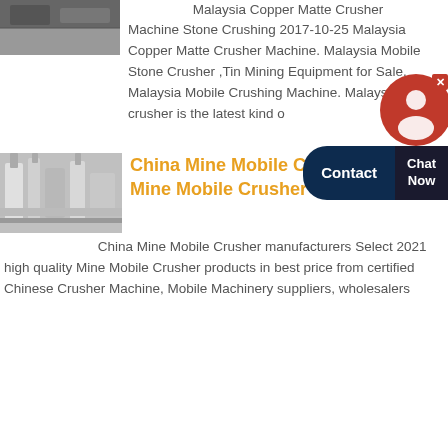[Figure (photo): Partial image of outdoor scene or machinery, cropped at top-left]
Malaysia Copper Matte Crusher Machine Stone Crushing 2017-10-25 Malaysia Copper Matte Crusher Machine. Malaysia Mobile Stone Crusher ,Tin Mining Equipment for Sale. Malaysia Mobile Crushing Machine. Malaysia crusher is the latest kind o
[Figure (screenshot): Contact widget with red circular chat icon, dark navy Contact button, and Chat Now label]
[Figure (photo): Industrial machinery with pipes and equipment, mine mobile crusher]
China Mine Mobile Crusher, Mine Mobile Crusher
China Mine Mobile Crusher manufacturers Select 2021 high quality Mine Mobile Crusher products in best price from certified Chinese Crusher Machine, Mobile Machinery suppliers, wholesalers